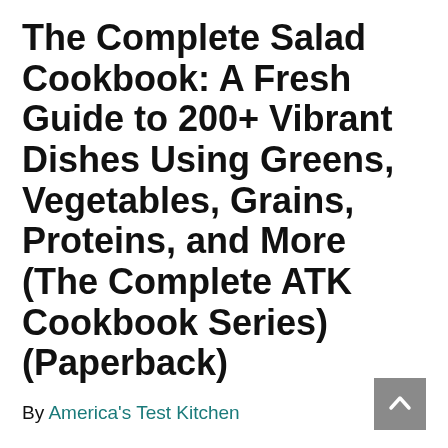The Complete Salad Cookbook: A Fresh Guide to 200+ Vibrant Dishes Using Greens, Vegetables, Grains, Proteins, and More (The Complete ATK Cookbook Series) (Paperback)
By America's Test Kitchen
$34.99
Send us an inquiry for availability information on this title!
ASK A BOOKSELLER